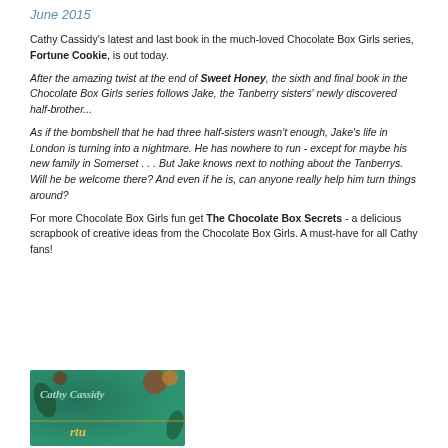June 2015
Cathy Cassidy's latest and last book in the much-loved Chocolate Box Girls series, Fortune Cookie, is out today.
After the amazing twist at the end of Sweet Honey, the sixth and final book in the Chocolate Box Girls series follows Jake, the Tanberry sisters' newly discovered half-brother...
As if the bombshell that he had three half-sisters wasn't enough, Jake's life in London is turning into a nightmare. He has nowhere to run - except for maybe his new family in Somerset . . . But Jake knows next to nothing about the Tanberrys. Will he be welcome there? And even if he is, can anyone really help him turn things around?
For more Chocolate Box Girls fun get The Chocolate Box Secrets - a delicious scrapbook of creative ideas from the Chocolate Box Girls. A must-have for all Cathy fans!
[Figure (photo): Book cover for Fortune Cookie by Cathy Cassidy - teal/green background with decorative elements and the author's name in cursive script]